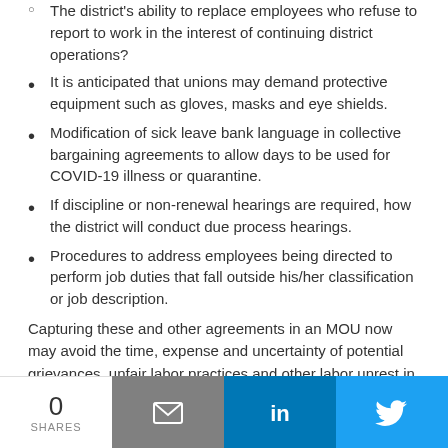The district's ability to replace employees who refuse to report to work in the interest of continuing district operations?
It is anticipated that unions may demand protective equipment such as gloves, masks and eye shields.
Modification of sick leave bank language in collective bargaining agreements to allow days to be used for COVID-19 illness or quarantine.
If discipline or non-renewal hearings are required, how the district will conduct due process hearings.
Procedures to address employees being directed to perform job duties that fall outside his/her classification or job description.
Capturing these and other agreements in an MOU now may avoid the time, expense and uncertainty of potential grievances, unfair labor practices and other labor unrest in the future.
0 SHARES | Email | LinkedIn | Twitter